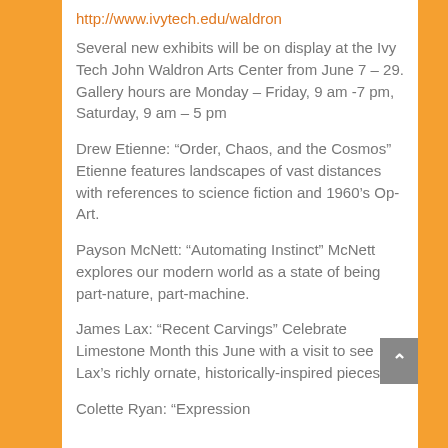http://www.ivytech.edu/waldron
Several new exhibits will be on display at the Ivy Tech John Waldron Arts Center from June 7 – 29. Gallery hours are Monday – Friday, 9 am -7 pm, Saturday, 9 am – 5 pm
Drew Etienne: “Order, Chaos, and the Cosmos” Etienne features landscapes of vast distances with references to science fiction and 1960’s Op-Art.
Payson McNett: “Automating Instinct” McNett explores our modern world as a state of being part-nature, part-machine.
James Lax: “Recent Carvings” Celebrate Limestone Month this June with a visit to see Lax’s richly ornate, historically-inspired pieces.
Colette Ryan: “Expression...”